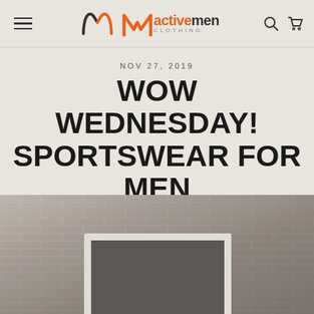Active Men Clothing — navigation header with hamburger menu, logo, search and cart icons
NOV 27, 2019
WOW WEDNESDAY! SPORTSWEAR FOR MEN SALE STARTED
[Figure (photo): Photo of a framed chalkboard leaning against a weathered brick/concrete wall, shot from above at an angle. The scene is desaturated grey tones.]